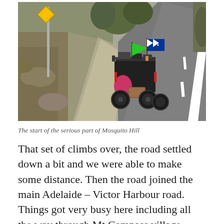[Figure (photo): A loaded touring bicycle or cargo bike parked on the shoulder of a road at the start of Mosquito Hill. The bike has a green flag and an Australian flag attached, along with panniers and bags. The road is visible on the right, with dry grassy vegetation and a sign post on the left.]
The start of the serious part of Mosquito Hill
That set of climbs over, the road settled down a bit and we were able to make some distance. Then the road joined the main Adelaide – Victor Harbour road. Things got very busy here including all the way through Mt Compass village, complete with road works.